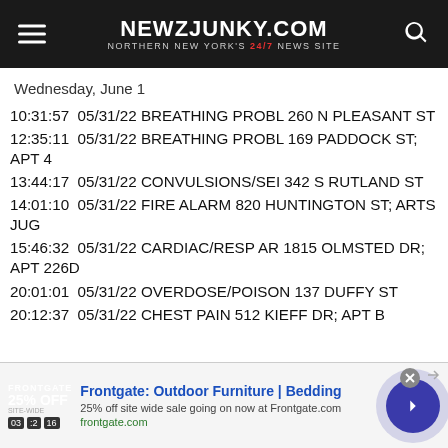NEWZJUNKY.COM — NORTHERN NEW YORK'S 24/7 NEWS SITE
Wednesday, June 1
10:31:57  05/31/22 BREATHING PROBL 260 N PLEASANT ST
12:35:11  05/31/22 BREATHING PROBL 169 PADDOCK ST; APT 4
13:44:17  05/31/22 CONVULSIONS/SEI 342 S RUTLAND ST
14:01:10  05/31/22 FIRE ALARM 820 HUNTINGTON ST; ARTS JUG
15:46:32  05/31/22 CARDIAC/RESP AR 1815 OLMSTED DR; APT 226D
20:01:01  05/31/22 OVERDOSE/POISON 137 DUFFY ST
20:12:37  05/31/22 CHEST PAIN 512 KIEFF DR; APT B
[Figure (other): Frontgate advertisement banner: Outdoor Furniture and Bedding, 25% off site wide sale, frontgate.com]